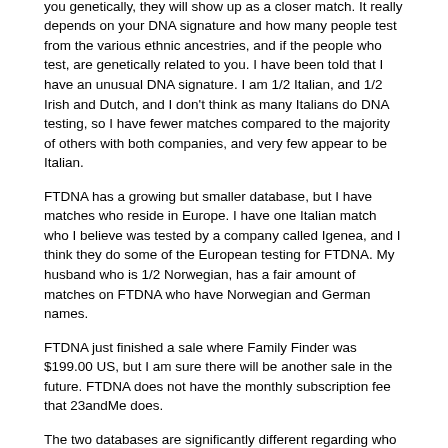My closest match(s) on 23andMe is at the 4th cousin level, and at FTDNA I have a 3rd cousin match. However, if a person tests with either company who is a closer relation to you genetically, they will show up as a closer match. It really depends on your DNA signature and how many people test from the various ethnic ancestries, and if the people who test, are genetically related to you. I have been told that I have an unusual DNA signature. I am 1/2 Italian, and 1/2 Irish and Dutch, and I don't think as many Italians do DNA testing, so I have fewer matches compared to the majority of others with both companies, and very few appear to be Italian.
FTDNA has a growing but smaller database, but I have matches who reside in Europe. I have one Italian match who I believe was tested by a company called Igenea, and I think they do some of the European testing for FTDNA. My husband who is 1/2 Norwegian, has a fair amount of matches on FTDNA who have Norwegian and German names.
FTDNA just finished a sale where Family Finder was $199.00 US, but I am sure there will be another sale in the future. FTDNA does not have the monthly subscription fee that 23andMe does.
The two databases are significantly different regarding who tests where. So far, I only have one person who matches me at both companies.
If you are an adoptee, definitely test at both companies if you can as fishing in two ponds is better than one.
Judy